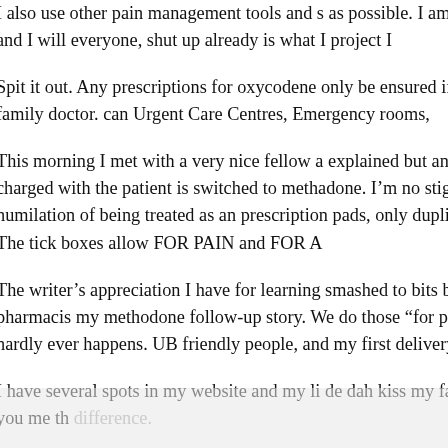I also use other pain management tools and s as possible. I am never pain free, and I will everyone, shut up already is what I project I
Spit it out. Any prescriptions for oxycodene only be ensured if you have a family doctor. can Urgent Care Centres, Emergency rooms,
This morning I met with a very nice fellow a explained but an “addictionist” charged with the patient is switched to methadone. I’m no stigma, the humilation of being treated as an prescription pads, only duplicates instead of The tick boxes allow FOR PAIN and FOR A
The writer’s appreciation I have for learning smashed to bits by the look of the pharmacis my methodone follow-up story. We do those “for pain,” well that hardly ever happens. UB friendly people, and my first delivery was by street.
I have several spots in my website and my li de dah kiss my fancy ass. Believe you me th difference.
My oxy dosage is 30 mgs. I said that alrea